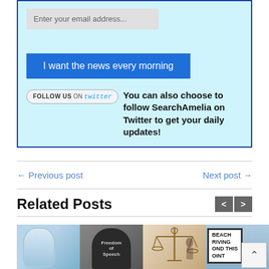[Figure (screenshot): Email subscription box with light blue background and blue border. Contains an email input field, a blue 'I want the news every morning' button, and a Twitter follow section with text 'You can also choose to follow SearchAmelia on Twitter to get your daily updates!']
← Previous post    Next post →
Related Posts
[Figure (photo): Four thumbnail images: a face mask, a tombstone with 'Freedom of Speech', a justice scale statue, and a beach driving sign reading 'BEACH RIVING OND THIS OINT']